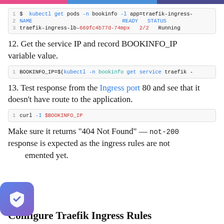[Figure (screenshot): Code block showing: 1  $ kubectl get pods -n bookinfo -l app=traefik-ingress- | 2  NAME   READY   STATUS | 3  traefik-ingress-lb-669fc4b77d-74mpx   2/2   Running]
12. Get the service IP and record BOOKINFO_IP variable value.
[Figure (screenshot): Code block showing: 1  BOOKINFO_IP=$(kubectl -n bookinfo get service traefik -]
13. Test response from the Ingress port 80 and see that it doesn't have route to the application.
[Figure (screenshot): Code block showing: 1  curl -I $BOOKINFO_IP]
Make sure it returns "404 Not Found" — not-200 response is expected as the ingress rules are not implemented yet.
Configure Traefik Ingress Rules